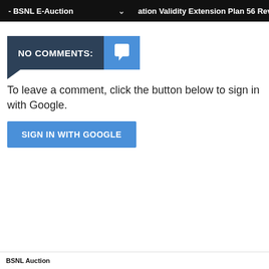- BSNL E-Auction   ation Validity Extension Plan 56 Revised
[Figure (other): NO COMMENTS badge with speech bubble icon — dark navy left section with bold white text 'NO COMMENTS:' and a blue right section with white speech bubble icon, with a triangular pointer at the bottom-left]
To leave a comment, click the button below to sign in with Google.
SIGN IN WITH GOOGLE
BSNL Auction Terms Footer